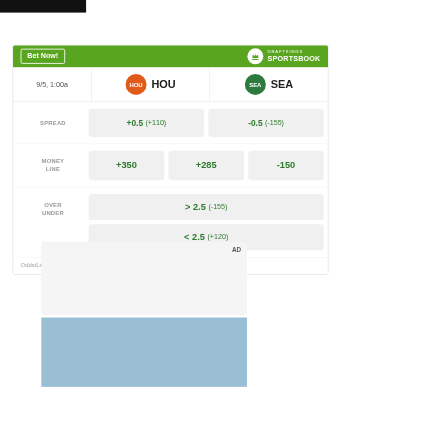[Figure (other): Black header bar at top left of page]
|  | HOU | SEA |
| --- | --- | --- |
| SPREAD | +0.5 (+110) | -0.5 (-155) |
| MONEY LINE | +350 | +285 | -150 |
| OVER UNDER | > 2.5 (-155) | < 2.5 (+120) |
Odds/Lines subject to change. See draftkings.com for details.
AD